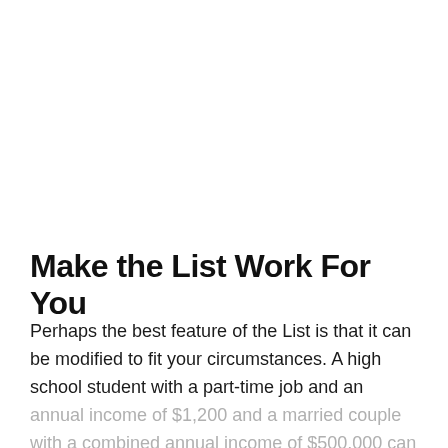Make the List Work For You
Perhaps the best feature of the List is that it can be modified to fit your circumstances. A high school student with a part-time job and an annual income of $1,200 and a married couple with a combined annual income of $500,000 can